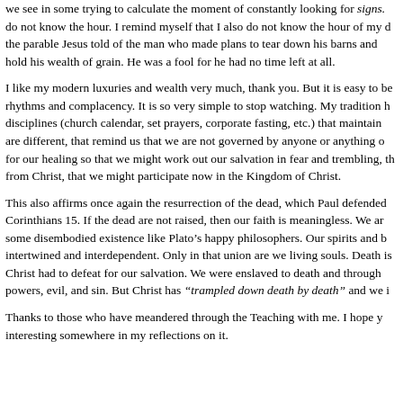we see in some trying to calculate the moment of constantly looking for signs. do not know the hour. I remind myself that I also do not know the hour of my d the parable Jesus told of the man who made plans to tear down his barns and hold his wealth of grain. He was a fool for he had no time left at all.
I like my modern luxuries and wealth very much, thank you. But it is easy to be rhythms and complacency. It is so very simple to stop watching. My tradition h disciplines (church calendar, set prayers, corporate fasting, etc.) that maintain are different, that remind us that we are not governed by anyone or anything o for our healing so that we might work out our salvation in fear and trembling, th from Christ, that we might participate now in the Kingdom of Christ.
This also affirms once again the resurrection of the dead, which Paul defended Corinthians 15. If the dead are not raised, then our faith is meaningless. We ar some disembodied existence like Plato’s happy philosophers. Our spirits and b intertwined and interdependent. Only in that union are we living souls. Death is Christ had to defeat for our salvation. We were enslaved to death and through powers, evil, and sin. But Christ has “trampled down death by death” and we i
Thanks to those who have meandered through the Teaching with me. I hope y interesting somewhere in my reflections on it.